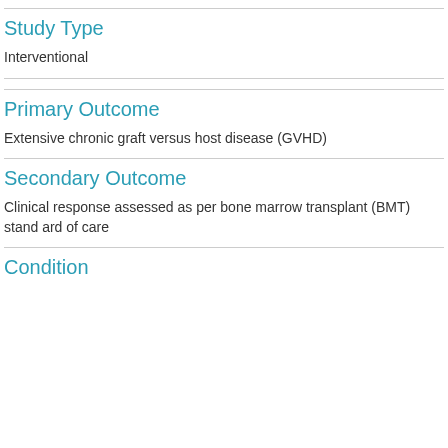Study Type
Interventional
Primary Outcome
Extensive chronic graft versus host disease (GVHD)
Secondary Outcome
Clinical response assessed as per bone marrow transplant (BMT) standard of care
Condition